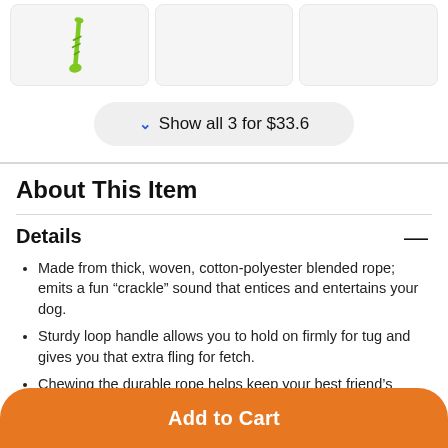[Figure (photo): Three product image thumbnails showing dog rope toys; first box has a green rope toy, other two are empty gray boxes]
Show all 3 for $33.6
About This Item
Details
Made from thick, woven, cotton-polyester blended rope; emits a fun “crackle” sound that entices and entertains your dog.
Sturdy loop handle allows you to hold on firmly for tug and gives you that extra fling for fetch.
Chewing the durable rope helps keep your best friend’s teeth and gum health… (cut off)
Add to Cart